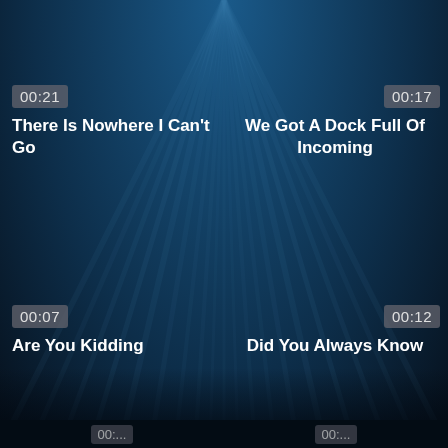[Figure (screenshot): Music/video playlist grid interface with dark blue sunburst background showing 4 items: 'There Is Nowhere I Can't Go' (00:21), 'We Got A Dock Full Of Incoming' (00:17), 'Are You Kidding' (00:07), 'Did You Always Know' (00:12)]
00:21
There Is Nowhere I Can't Go
00:17
We Got A Dock Full Of Incoming
00:07
Are You Kidding
00:12
Did You Always Know